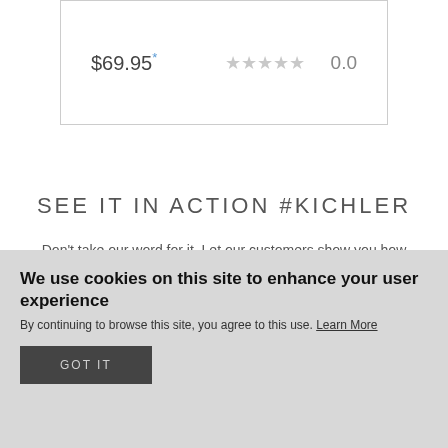$69.95* ☆☆☆☆☆ 0.0
SEE IT IN ACTION #KICHLER
Don't take our word for it. Let our customers show you how Kichler Lighting is helping to shape their space.
We use cookies on this site to enhance your user experience
By continuing to browse this site, you agree to this use. Learn More
GOT IT